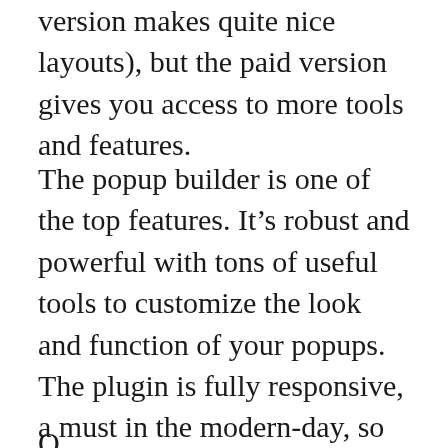version makes quite nice layouts), but the paid version gives you access to more tools and features.
The popup builder is one of the top features. It’s robust and powerful with tons of useful tools to customize the look and function of your popups. The plugin is fully responsive, a must in the modern-day, so you can rest assured your site works just as seamlessly across all devices.
On a site ideas section, one line